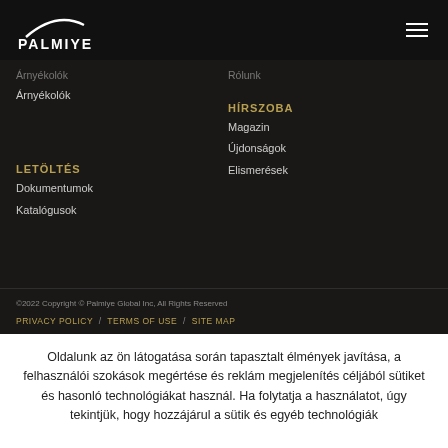[Figure (logo): Palmiye logo with arc swoosh and tagline 'Four Seasons Outdoor Living Areas']
Árnyékolók
HÍRSZOBA
Magazin
Újdonságok
Elismerések
LETÖLTÉS
Dokumentumok
Katalógusok
©2022 Copyright © Palmiye Global Inc, All Rights Reserved
PRIVACY POLICY / TERMS OF USE / SITE MAP
Oldalunk az ön látogatása során tapasztalt élmények javítása, a felhasználói szokások megértése és reklám megjelenítés céljából sütiket és hasonló technológiákat használ. Ha folytatja a használatot, úgy tekintjük, hogy hozzájárul a sütik és egyéb technológiák